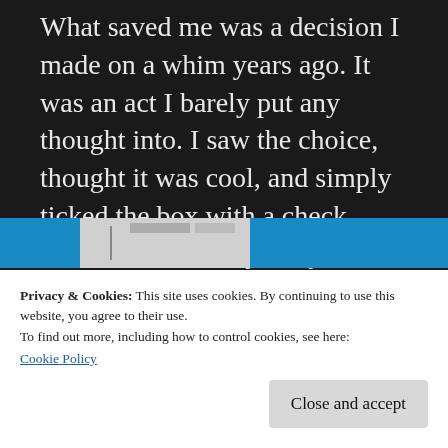What saved me was a decision I made on a whim years ago. It was an act I barely put any thought into. I saw the choice, thought it was cool, and simply ticked the box with a check mark. I donated my body to science.
As soon as I was declared clinically dead, I was rushed to a laboratory who has been in the field of medical research connected with advanced prosthetics and robotics.
[Figure (photo): Partial view of an image strip with blue and white/gray sections, partially obscured by cookie banner overlay]
Privacy & Cookies: This site uses cookies. By continuing to use this website, you agree to their use.
To find out more, including how to control cookies, see here:
Cookie Policy
Close and accept